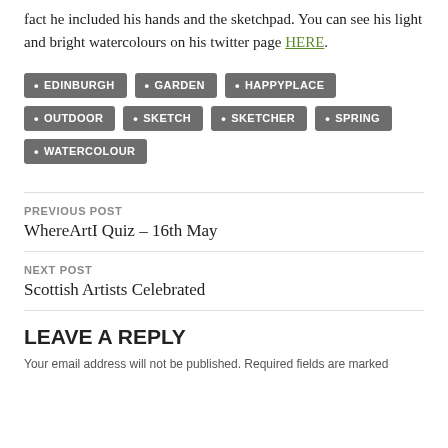fact he included his hands and the sketchpad. You can see his light and bright watercolours on his twitter page HERE.
EDINBURGH
GARDEN
HAPPYPLACE
OUTDOOR
SKETCH
SKETCHER
SPRING
WATERCOLOUR
PREVIOUS POST
WhereArtI Quiz – 16th May
NEXT POST
Scottish Artists Celebrated
LEAVE A REPLY
Your email address will not be published. Required fields are marked